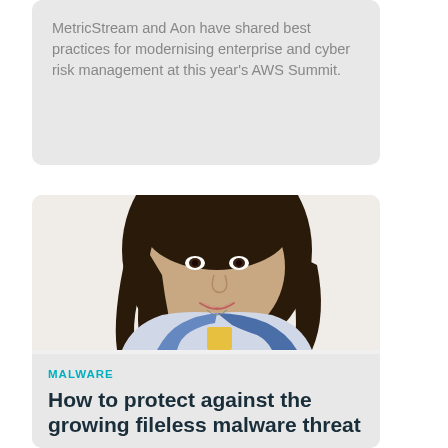MetricStream and Aon have shared best practices for modernising enterprise and cyber risk management at this year's AWS Summit.
[Figure (photo): Portrait photo of a young woman with long dark hair, wearing a blue denim vest over a light top, smiling at the camera against a white background.]
MALWARE
How to protect against the growing fileless malware threat